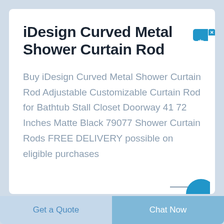iDesign Curved Metal Shower Curtain Rod
Buy iDesign Curved Metal Shower Curtain Rod Adjustable Customizable Curtain Rod for Bathtub Stall Closet Doorway 41 72 Inches Matte Black 79077 Shower Curtain Rods FREE DELIVERY possible on eligible purchases
[Figure (other): Chinese live chat widget button on the right side with text 在线咨询 (online consultation) and a close X button]
[Figure (other): Partial blue circular icon visible at the bottom right of the card]
Get a Quote
Chat Now